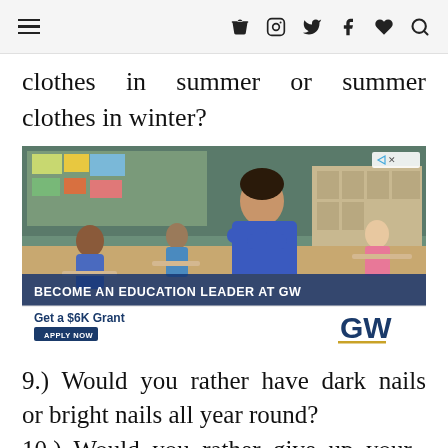≡ ▶ 📷 🐦 f ♥ 🔍
clothes in summer or summer clothes in winter?
[Figure (photo): Advertisement for George Washington University showing a teacher standing with arms crossed in a classroom full of students. Text reads: BECOME AN EDUCATION LEADER AT GW. Get a $6K Grant. APPLY NOW. GW logo.]
9.) Would you rather have dark nails or bright nails all year round?
10.) Would you rather give up your